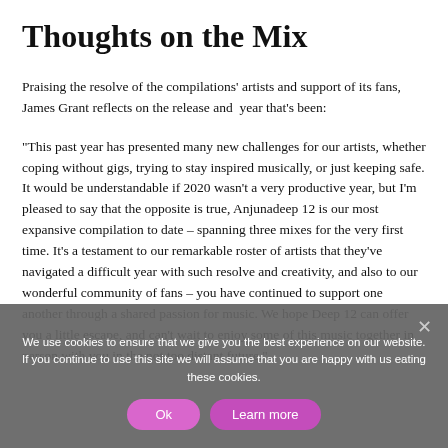Thoughts on the Mix
Praising the resolve of the compilations' artists and support of its fans, James Grant reflects on the release and  year that's been:
“This past year has presented many new challenges for our artists, whether coping without gigs, trying to stay inspired musically, or just keeping safe. It would be understandable if 2020 wasn’t a very productive year, but I’m pleased to say that the opposite is true, Anjunadeep 12 is our most expansive compilation to date – spanning three mixes for the very first time. It’s a testament to our remarkable roster of artists that they’ve navigated a difficult year with such resolve and creativity, and also to our wonderful community of fans – you have continued to support one another through a shared passion for music. We hope Deep 12 can offer you a little escape, and can’t wait to enjoy some of this music together in person with you in the not too distant future.”
We use cookies to ensure that we give you the best experience on our website. If you continue to use this site we will assume that you are happy with us eating these cookies.